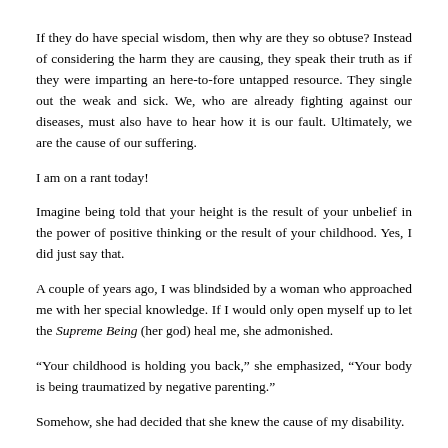If they do have special wisdom, then why are they so obtuse?  Instead of considering the harm they are causing, they speak their truth as if they were imparting an here-to-fore untapped resource. They single out the weak and sick.  We, who are already fighting against our diseases,  must also have to hear how it is our fault.  Ultimately, we are the cause of our suffering.
I am on a rant today!
Imagine being told that your height is the result of your unbelief in the power of positive thinking or the result of your childhood.  Yes, I did just say that.
A couple of years ago, I was blindsided by a woman who approached me with her special knowledge.  If I would only open myself up to let the Supreme Being (her god) heal me, she admonished.
“Your childhood is holding you back,” she emphasized, “Your body is being traumatized by negative parenting.”
Somehow, she had decided that she knew the cause of my disability.
What she didn’t know was that I have myotonic dystrophy and that it is a genetic disease.  Her lack of knowledge didn’t stop her, though.  Her special insight had revealed exclusive divination to her.  She was only the messenger, and I needed to heed her message.  She was adamant and